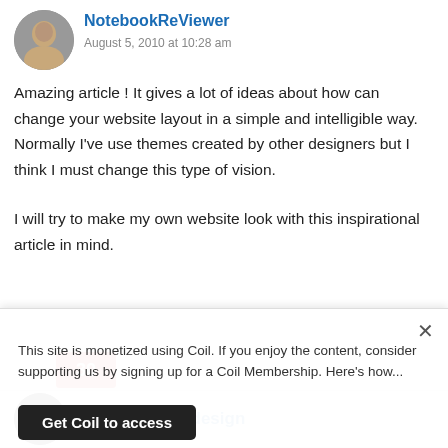[Figure (photo): Avatar photo of NotebookReViewer, a person's face in a circular crop]
NotebookReViewer
August 5, 2010 at 10:28 am
Amazing article ! It gives a lot of ideas about how can change your website layout in a simple and intelligible way. Normally I've use themes created by other designers but I think I must change this type of vision.

I will try to make my own website look with this inspirational article in mind.
30
[Figure (logo): Chimera Studios circular logo with dark background]
Chimera web design
This site is monetized using Coil. If you enjoy the content, consider supporting us by signing up for a Coil Membership. Here's how...
Get Coil to access